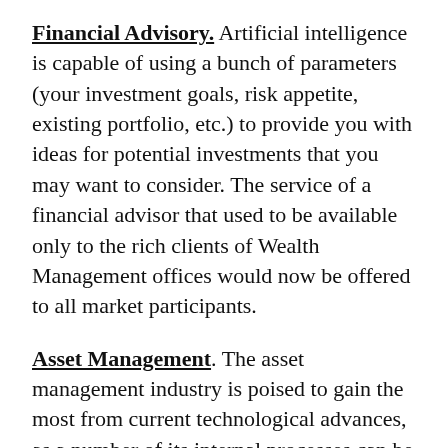Financial Advisory. Artificial intelligence is capable of using a bunch of parameters (your investment goals, risk appetite, existing portfolio, etc.) to provide you with ideas for potential investments that you may want to consider. The service of a financial advisor that used to be available only to the rich clients of Wealth Management offices would now be offered to all market participants.
Asset Management. The asset management industry is poised to gain the most from current technological advances, as a number of its internal processes can be optimized with AI and blockchain technology – for example, portfolio rebalancing and risk management. This was the reasoning behind BAMP – Zichain's innovative Blockchain Asset Management Platform. Funds using our turnkey solution will be able to spend less time on back office routine, instead allocating resources for